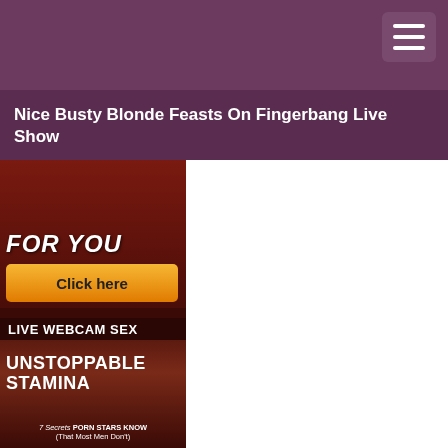Nice Busty Blonde Feasts On Fingerbang Live Show
[Figure (illustration): Dark red advertisement banner showing 'FOR YOU' text with a 'Click here' orange button and 'LIVE WEBCAM SEX' label at the bottom]
[Figure (illustration): Advertisement image showing a couple with text 'UNSTOPPABLE STAMINA' and '7 Secrets PORN STARS KNOW (That Most Men Don't)']